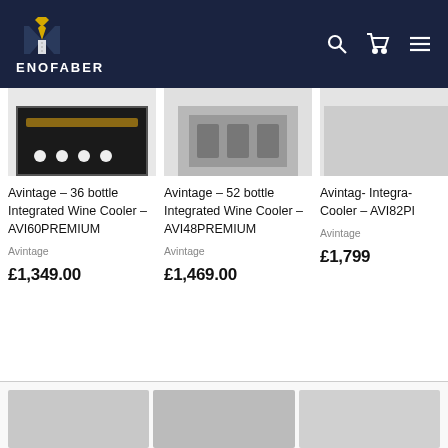[Figure (logo): Enofaber logo with tuxedo/bowtie icon in gold on dark navy background, with text ENOFABER in white]
Avintage - 36 bottle Integrated Wine Cooler - AVI60PREMIUM
Avintage
£1,349.00
Avintage - 52 bottle Integrated Wine Cooler - AVI48PREMIUM
Avintage
£1,469.00
Avintage - [partially visible] Integrated Wine Cooler - AVI82P[...]
Avintage
£1,799[...]